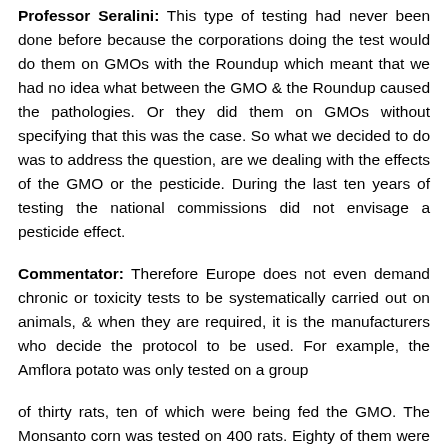Professor Seralini: This type of testing had never been done before because the corporations doing the test would do them on GMOs with the Roundup which meant that we had no idea what between the GMO & the Roundup caused the pathologies. Or they did them on GMOs without specifying that this was the case. So what we decided to do was to address the question, are we dealing with the effects of the GMO or the pesticide. During the last ten years of testing the national commissions did not envisage a pesticide effect.
Commentator: Therefore Europe does not even demand chronic or toxicity tests to be systematically carried out on animals, & when they are required, it is the manufacturers who decide the protocol to be used. For example, the Amflora potato was only tested on a group
of thirty rats, ten of which were being fed the GMO. The Monsanto corn was tested on 400 rats. Eighty of them were fed the transgenic plant, but only forty of them were then